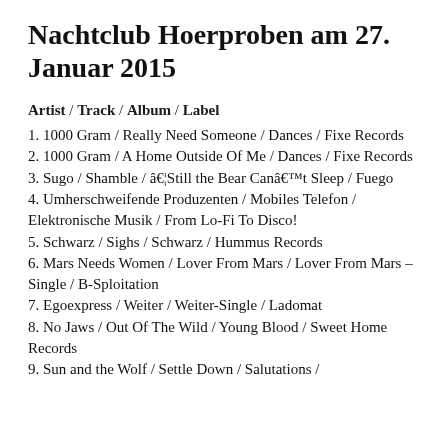Nachtclub Hoerproben am 27. Januar 2015
Artist / Track / Album / Label
1. 1000 Gram / Really Need Someone / Dances / Fixe Records
2. 1000 Gram / A Home Outside Of Me / Dances / Fixe Records
3. Sugo / Shamble / â€¦Still the Bear Canâ€™t Sleep / Fuego
4. Umherschweifende Produzenten / Mobiles Telefon / Elektronische Musik / From Lo-Fi To Disco!
5. Schwarz / Sighs / Schwarz / Hummus Records
6. Mars Needs Women / Lover From Mars / Lover From Mars – Single / B-Sploitation
7. Egoexpress / Weiter / Weiter-Single / Ladomat
8. No Jaws / Out Of The Wild / Young Blood / Sweet Home Records
9. Sun and the Wolf / Settle Down / Salutations /